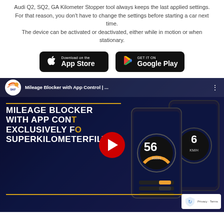Audi Q2, SQ2, GA Kilometer Stopper tool always keeps the last applied settings. For that reason, you don't have to change the settings before starting a car next time. The device can be activated or deactivated, either while in motion or when stationary.
[Figure (other): Two app store download buttons side by side: 'Download on the App Store' (Apple) and 'GET IT ON Google Play' (Google), both on black rounded rectangle backgrounds.]
[Figure (screenshot): YouTube video thumbnail for 'Mileage Blocker with App Control | ...' by SKF. Dark navy background with gold horizontal lines, bold white text reading 'MILEAGE BLOCKER WITH APP CONTROL EXCLUSIVELY FOR SUPERKILOMETERFILTER', a red YouTube play button in the center, phone mockups on the right showing a speedometer at 56 KM/H, and a privacy/reCAPTCHA badge in the bottom right corner.]